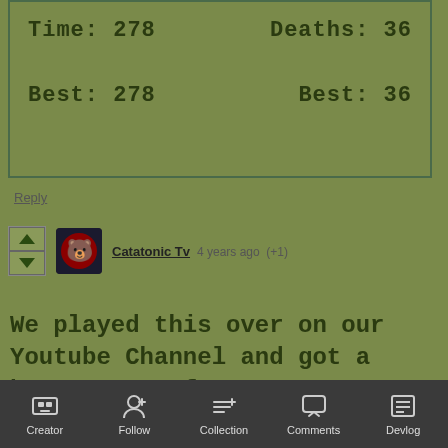[Figure (screenshot): Game score box showing Time: 278, Deaths: 36, Best: 278, Best: 36]
Reply
Catatonic Tv  4 years ago  (+1)
We played this over on our Youtube Channel and got a best score of 197!
[Figure (screenshot): Click to activate YouTube video thumbnail]
Creator  Follow  Collection  Comments  Devlog